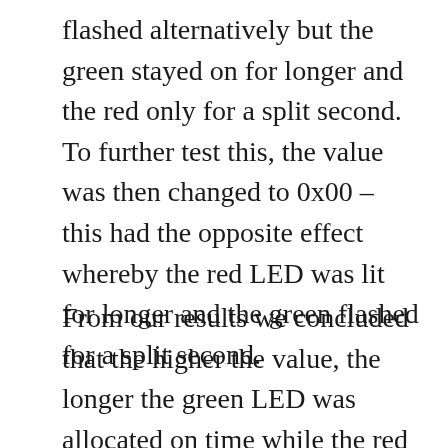flashed alternatively but the green stayed on for longer and the red only for a split second. To further test this, the value was then changed to 0x00 – this had the opposite effect whereby the red LED was lit for longer and the green flashed for a split second.
From our results we concluded that the higher the value, the longer the green LED was allocated on time while the red was allocated a far less